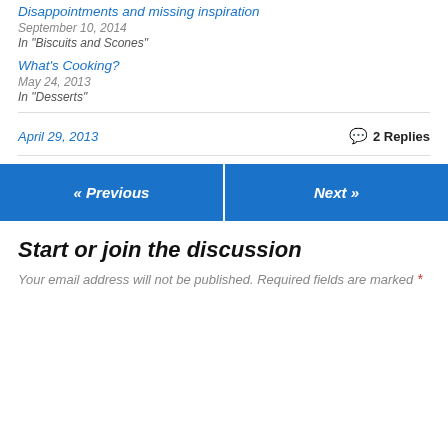Disappointments and missing inspiration
September 10, 2014
In "Biscuits and Scones"
What's Cooking?
May 24, 2013
In "Desserts"
April 29, 2013
2 Replies
« Previous
Next »
Start or join the discussion
Your email address will not be published. Required fields are marked *